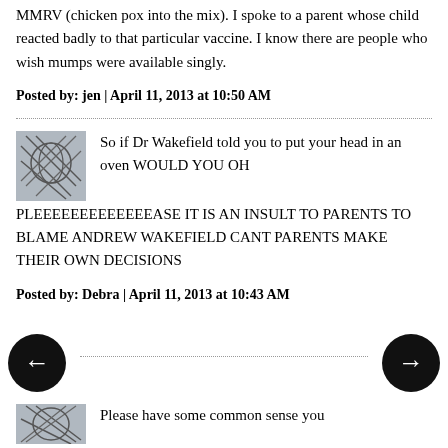MMRV (chicken pox into the mix). I spoke to a parent whose child reacted badly to that particular vaccine. I know there are people who wish mumps were available singly.
Posted by: jen | April 11, 2013 at 10:50 AM
So if Dr Wakefield told you to put your head in an oven WOULD YOU OH PLEEEEEEEEEEEEEASE IT IS AN INSULT TO PARENTS TO BLAME ANDREW WAKEFIELD CANT PARENTS MAKE THEIR OWN DECISIONS
Posted by: Debra | April 11, 2013 at 10:43 AM
Please have some common sense you